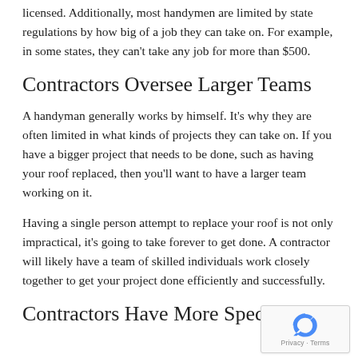licensed. Additionally, most handymen are limited by state regulations by how big of a job they can take on. For example, in some states, they can't take any job for more than $500.
Contractors Oversee Larger Teams
A handyman generally works by himself. It's why they are often limited in what kinds of projects they can take on. If you have a bigger project that needs to be done, such as having your roof replaced, then you'll want to have a larger team working on it.
Having a single person attempt to replace your roof is not only impractical, it's going to take forever to get done. A contractor will likely have a team of skilled individuals work closely together to get your project done efficiently and successfully.
Contractors Have More Specialized